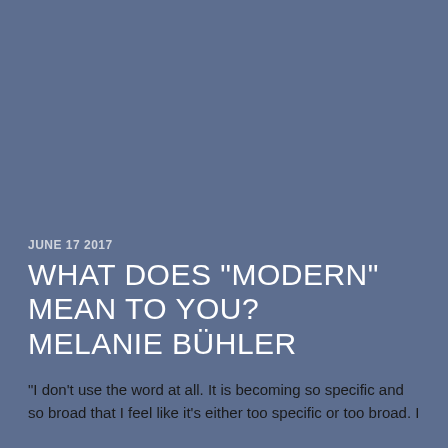JUNE 17 2017
WHAT DOES "MODERN" MEAN TO YOU? MELANIE BÜHLER
"I don't use the word at all. It is becoming so specific and so broad that I feel like it's either too specific or too broad. I